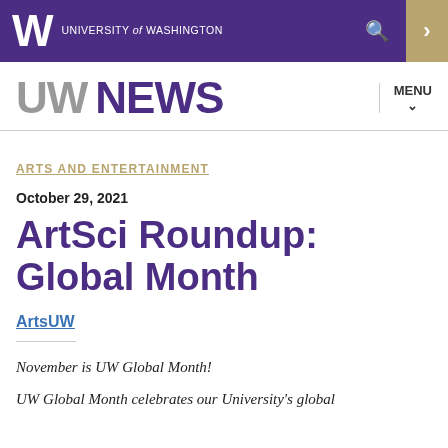UNIVERSITY of WASHINGTON
UW NEWS
ARTS AND ENTERTAINMENT
October 29, 2021
ArtSci Roundup: Global Month
ArtsUW
November is UW Global Month!
UW Global Month celebrates our University's global